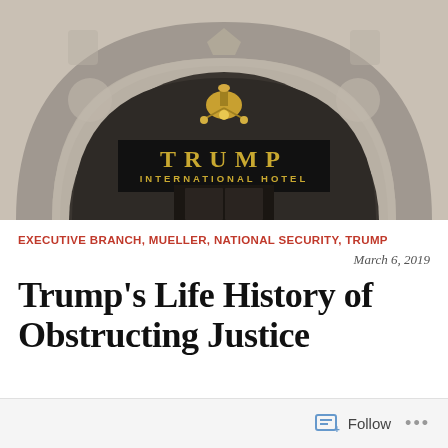[Figure (photo): Photograph of the Trump International Hotel entrance, showing the ornate stone arch facade with 'TRUMP INTERNATIONAL HOTEL' signage and 'OLD POST OFFICE' text below, with a golden chandelier hanging inside the arch.]
EXECUTIVE BRANCH, MUELLER, NATIONAL SECURITY, TRUMP
March 6, 2019
Trump's Life History of Obstructing Justice